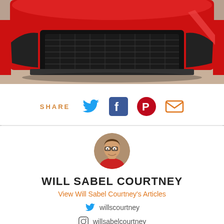[Figure (photo): Close-up front view of a red sports car on a brick surface, showing the grille and front bumper.]
SHARE
[Figure (infographic): Social share icons: Twitter (blue bird), Facebook (blue f), Pinterest (red P), email (orange envelope)]
[Figure (photo): Circular profile photo of Will Sabel Courtney, a young man with glasses smiling]
WILL SABEL COURTNEY
View Will Sabel Courtney's Articles
willscourtney
willsabelcourtney